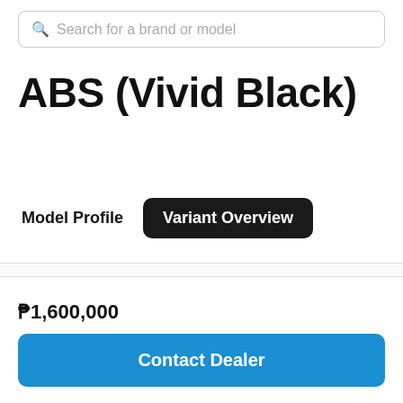Search for a brand or model
ABS (Vivid Black)
Model Profile
Variant Overview
₱1,600,000
Contact Dealer